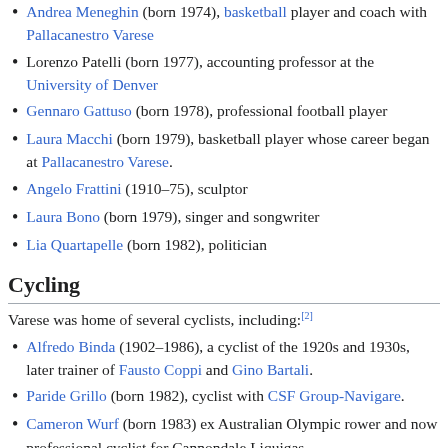Andrea Meneghin (born 1974), basketball player and coach with Pallacanestro Varese
Lorenzo Patelli (born 1977), accounting professor at the University of Denver
Gennaro Gattuso (born 1978), professional football player
Laura Macchi (born 1979), basketball player whose career began at Pallacanestro Varese.
Angelo Frattini (1910–75), sculptor
Laura Bono (born 1979), singer and songwriter
Lia Quartapelle (born 1982), politician
Cycling
Varese was home of several cyclists, including:[2]
Alfredo Binda (1902–1986), a cyclist of the 1920s and 1930s, later trainer of Fausto Coppi and Gino Bartali.
Paride Grillo (born 1982), cyclist with CSF Group-Navigare.
Cameron Wurf (born 1983) ex Australian Olympic rower and now professional cyclist for Cannondale Liquigas
Ivan Basso (born 1977), professional cyclist and winner of the